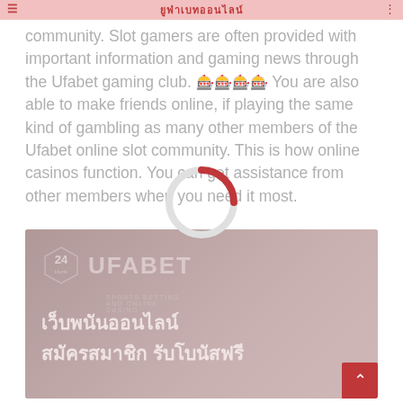ยูฟ่าเบทออนไลน์
community. Slot gamers are often provided with important information and gaming news through the Ufabet gaming club. 🎰 You are also able to make friends online, if playing the same kind of gambling as many other members of the Ufabet online slot community. This is how online casinos function. You can get assistance from other members when you need it most.
[Figure (photo): Ufabet promotional banner with 24-hour badge logo, UFABET sports betting and online casino branding, a woman model, and Thai text reading เว็บพนันออนไลน์ สมัครสมาชิก รับโบนัสฟรี]